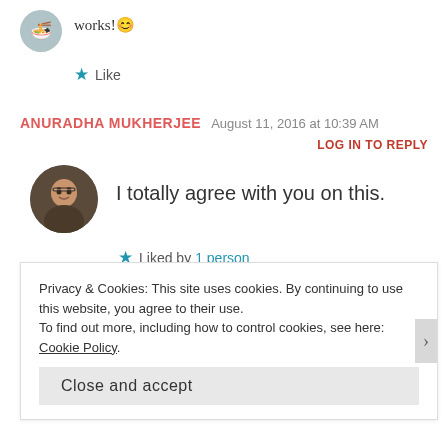works! 😊
Like
ANURADHA MUKHERJEE   August 11, 2016 at 10:39 AM
LOG IN TO REPLY
[Figure (photo): Round profile photo of a woman with glasses]
I totally agree with you on this.
Liked by 1 person
Privacy & Cookies: This site uses cookies. By continuing to use this website, you agree to their use. To find out more, including how to control cookies, see here: Cookie Policy
Close and accept